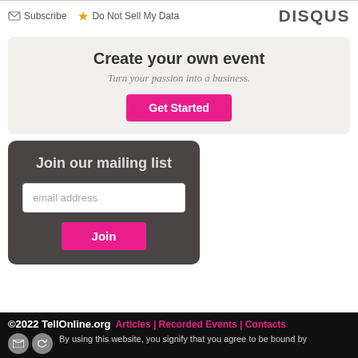Subscribe | Do Not Sell My Data | DISQUS
Create your own event
Turn your passion into a business.
Get Started
Join our mailing list
email address
Join
©2022 TellOnline.org  Articles | Recorded Events | Contacts  By using this website, you signify that you agree to be bound by the Terms of Use and Privacy Policy